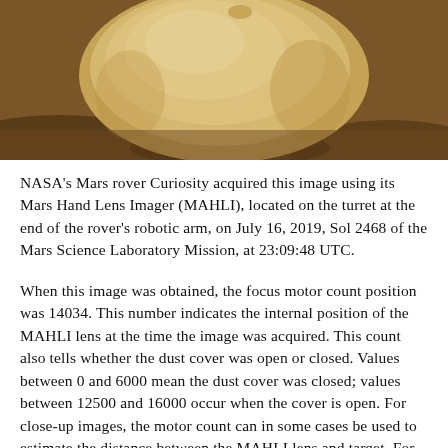[Figure (photo): Mars surface rock photograph taken by NASA's Curiosity rover using MAHLI camera. Shows a large pale rock against reddish-brown Martian soil.]
NASA's Mars rover Curiosity acquired this image using its Mars Hand Lens Imager (MAHLI), located on the turret at the end of the rover's robotic arm, on July 16, 2019, Sol 2468 of the Mars Science Laboratory Mission, at 23:09:48 UTC.
When this image was obtained, the focus motor count position was 14034. This number indicates the internal position of the MAHLI lens at the time the image was acquired. This count also tells whether the dust cover was open or closed. Values between 0 and 6000 mean the dust cover was closed; values between 12500 and 16000 occur when the cover is open. For close-up images, the motor count can in some cases be used to estimate the distance between the MAHLI lens and target. For example, in-focus images obtained with the dust cover open for which the lens...